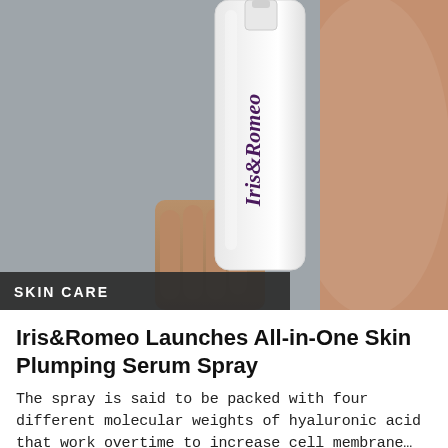[Figure (photo): Close-up photo of a person holding a white cylindrical pump bottle with 'Iris&Romeo' written in dark purple script on the label. The background shows a blurred neutral-toned skin and grey surface.]
SKIN CARE
Iris&Romeo Launches All-in-One Skin Plumping Serum Spray
The spray is said to be packed with four different molecular weights of hyaluronic acid that work overtime to increase cell membrane…
FAQ  Contact Us  Editorial Submission  Advertise  Privacy Policy  Legal Terms  Scientific Advisors  Site Map